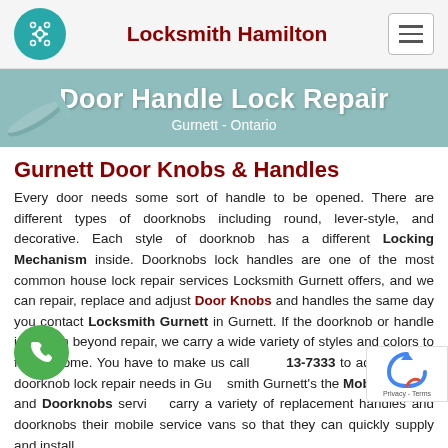Locksmith Hamilton
[Figure (illustration): Door Handle Lock Repair hero banner with text 'Door Handle Lock Repair' and 'Gurnett - Ontario' on teal background with door handle illustration]
Gurnett Door Knobs & Handles
Every door needs some sort of handle to be opened. There are different types of doorknobs including round, lever-style, and decorative. Each style of doorknob has a different Locking Mechanism inside. Doorknobs lock handles are one of the most common house lock repair services Locksmith Gurnett offers, and we can repair, replace and adjust Door Knobs and handles the same day you contact Locksmith Gurnett in Gurnett. If the doorknob or handle is broken beyond repair, we carry a wide variety of styles and colors to fit any home. You have to make us call 613-7333 to address your doorknob lock repair needs in Gurnett. Locksmith Gurnett's the Mobile Handle and Doorknobs service carry a variety of replacement handles and doorknobs their mobile service vans so that they can quickly supply and install and...